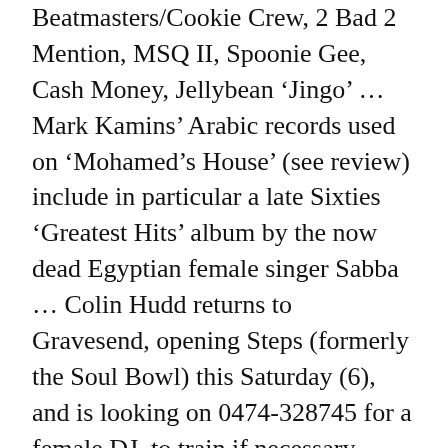Beatmasters/Cookie Crew, 2 Bad 2 Mention, MSQ II, Spoonie Gee, Cash Money, Jellybean 'Jingo' … Mark Kamins' Arabic records used on 'Mohamed's House' (see review) include in particular a late Sixties 'Greatest Hits' album by the now dead Egyptian female singer Sabba … Colin Hudd returns to Gravesend, opening Steps (formerly the Soul Bowl) this Saturday (6), and is looking on 0474-328745 for a female DJ, to train if necessary … Soho's Gullivers in Ganton Street, attracting a classy soul crowd, restart their old Wednesday party night under the new name 'Wednesday Live' next week … Nicky Holloway has already launched an Amnesia night for people with a sense of humour on Thursdays at Mayfair's Legends … Nigel Wilton, Richard James and